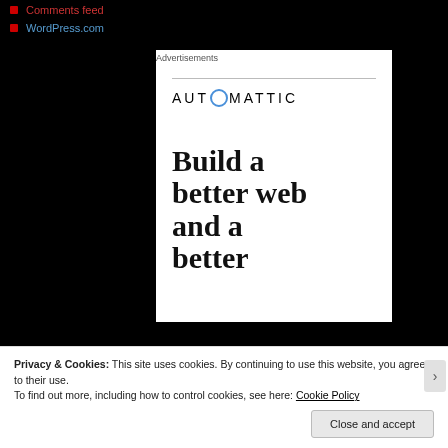Comments feed
WordPress.com
Advertisements
[Figure (logo): Automattic logo with stylized compass/circle icon replacing the letter O, followed by large bold serif text: Build a better web and a better]
Privacy & Cookies: This site uses cookies. By continuing to use this website, you agree to their use.
To find out more, including how to control cookies, see here: Cookie Policy
Close and accept